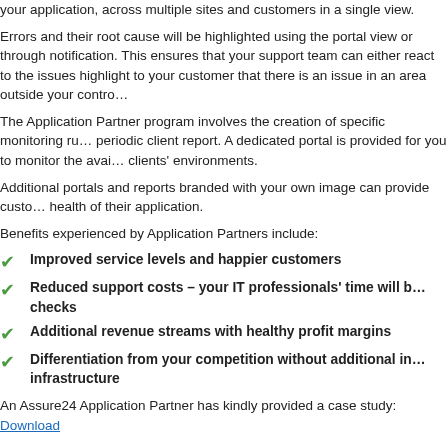your application, across multiple sites and customers in a single view.
Errors and their root cause will be highlighted using the portal view or through notification. This ensures that your support team can either react to the issues highlight to your customer that there is an issue in an area outside your control.
The Application Partner program involves the creation of specific monitoring rules and periodic client report. A dedicated portal is provided for you to monitor the availability of clients' environments.
Additional portals and reports branded with your own image can provide customers with the health of their application.
Benefits experienced by Application Partners include:
Improved service levels and happier customers
Reduced support costs – your IT professionals' time will be freed from manual checks
Additional revenue streams with healthy profit margins
Differentiation from your competition without additional investment in infrastructure
An Assure24 Application Partner has kindly provided a case study: Download